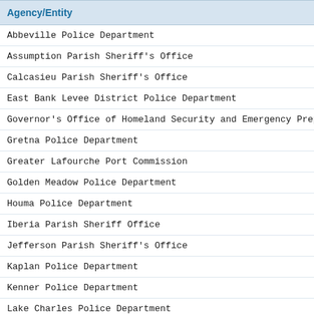| Agency/Entity |
| --- |
| Abbeville Police Department |
| Assumption Parish Sheriff's Office |
| Calcasieu Parish Sheriff's Office |
| East Bank Levee District Police Department |
| Governor's Office of Homeland Security and Emergency Prepar |
| Gretna Police Department |
| Greater Lafourche Port Commission |
| Golden Meadow Police Department |
| Houma Police Department |
| Iberia Parish Sheriff Office |
| Jefferson Parish Sheriff's Office |
| Kaplan Police Department |
| Kenner Police Department |
| Lake Charles Police Department |
| Lafayette Parish District Attorney's Office |
| Lafayette Coroner's Office |
| Lafayette Parish Detention Center |